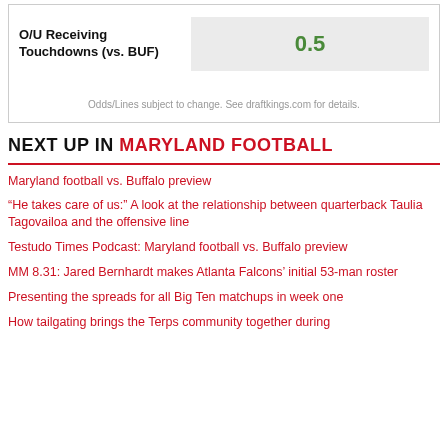| O/U Receiving Touchdowns (vs. BUF) | 0.5 |
| --- | --- |
Odds/Lines subject to change. See draftkings.com for details.
NEXT UP IN MARYLAND FOOTBALL
Maryland football vs. Buffalo preview
“He takes care of us:” A look at the relationship between quarterback Taulia Tagovailoa and the offensive line
Testudo Times Podcast: Maryland football vs. Buffalo preview
MM 8.31: Jared Bernhardt makes Atlanta Falcons’ initial 53-man roster
Presenting the spreads for all Big Ten matchups in week one
How tailgating brings the Terps community together during